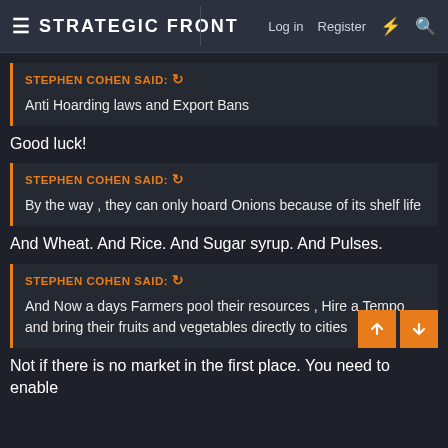STRATEGIC FRONT | Log in  Register
STEPHEN COHEN said: ↩
Anti Hoarding laws and Export Bans
Good luck!
STEPHEN COHEN said: ↩
By the way , they can only hoard Onions because of its shelf life
And Wheat. And Rice. And Sugar syrup. And Pulses.
STEPHEN COHEN said: ↩
And Now a days Farmers pool their resources , Hire a Tempo and bring their fruits and vegetables directly to cities
Not if there is no market in the first place. You need to enable